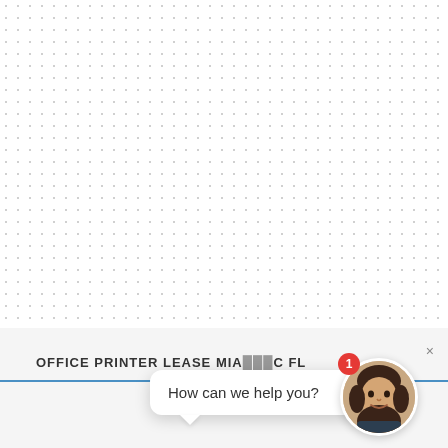[Figure (screenshot): White document page with subtle dot grid pattern, showing a partially blank form or document area. A chat support widget overlays the bottom-right corner with a female avatar, a red notification badge showing '1', a close button (×), and a speech bubble asking 'How can we help you?'. Partially visible text at the bottom reads 'OFFICE PRINTER LEASE MIA...C FL'.]
OFFICE PRINTER LEASE MIA... C FL
How can we help you?